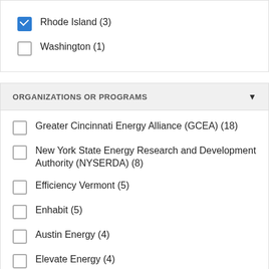Rhode Island (3)
Washington (1)
ORGANIZATIONS OR PROGRAMS
Greater Cincinnati Energy Alliance (GCEA) (18)
New York State Energy Research and Development Authority (NYSERDA) (8)
Efficiency Vermont (5)
Enhabit (5)
Austin Energy (4)
Elevate Energy (4)
Energy Trust of Oregon (4)
Michigan Saves (4)